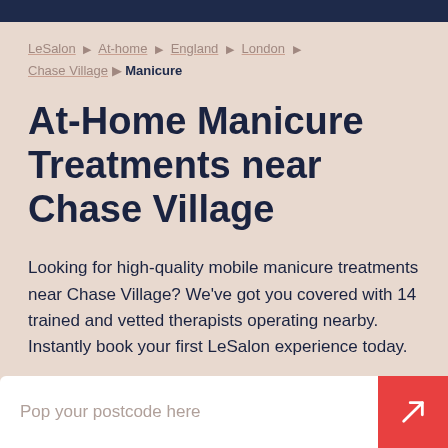LeSalon › At-home › England › London › Chase Village › Manicure
At-Home Manicure Treatments near Chase Village
Looking for high-quality mobile manicure treatments near Chase Village? We've got you covered with 14 trained and vetted therapists operating nearby. Instantly book your first LeSalon experience today.
Pop your postcode here